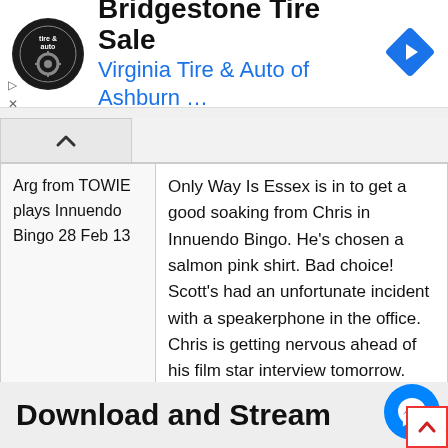[Figure (screenshot): Advertisement banner for Bridgestone Tire Sale by Virginia Tire & Auto of Ashburn, with circular logo and blue navigation arrow icon]
Bridgestone Tire Sale
Virginia Tire & Auto of Ashburn …
| Arg from TOWIE plays Innuendo Bingo 28 Feb 13 | Only Way Is Essex is in to get a good soaking from Chris in Innuendo Bingo. He's chosen a salmon pink shirt. Bad choice! Scott's had an unfortunate incident with a speakerphone in the office. Chris is getting nervous ahead of his film star interview tomorrow. Huw Stephens plays Real Or No Real. And does Nick Grimshaw have an 'In Emergency Break Glass For Harry Styles' button?? |
Download and Stream